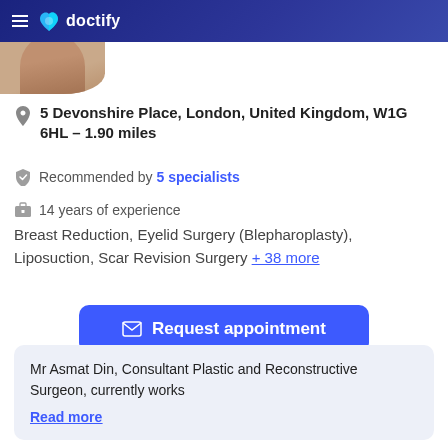doctify
[Figure (photo): Partial view of a person's head/face cropped at top of page]
5 Devonshire Place, London, United Kingdom, W1G 6HL – 1.90 miles
Recommended by 5 specialists
14 years of experience
Breast Reduction, Eyelid Surgery (Blepharoplasty), Liposuction, Scar Revision Surgery + 38 more
Request appointment
Mr Asmat Din, Consultant Plastic and Reconstructive Surgeon, currently works
Read more